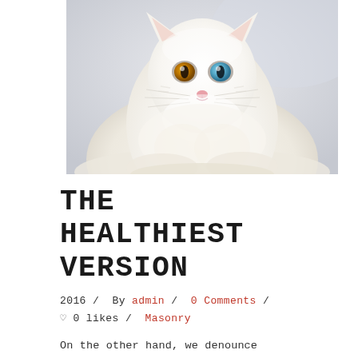[Figure (photo): A white fluffy cat with heterochromia (one amber eye, one blue eye) sitting on a white fluffy surface against a light gray-blue background, looking directly at the camera.]
THE HEALTHIEST VERSION
2016 /  By admin /  0 Comments /  ♡ 0 likes /  Masonry
On the other hand, we denounce